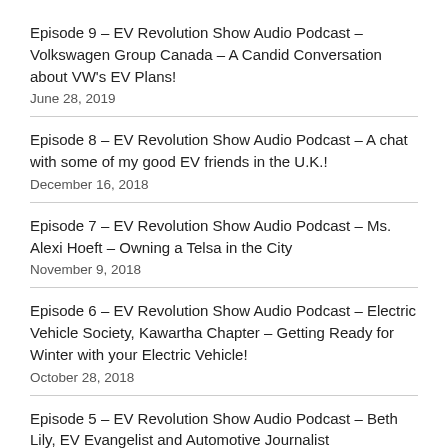Episode 9 – EV Revolution Show Audio Podcast – Volkswagen Group Canada – A Candid Conversation about VW's EV Plans!
June 28, 2019
Episode 8 – EV Revolution Show Audio Podcast – A chat with some of my good EV friends in the U.K.!
December 16, 2018
Episode 7 – EV Revolution Show Audio Podcast – Ms. Alexi Hoeft – Owning a Telsa in the City
November 9, 2018
Episode 6 – EV Revolution Show Audio Podcast – Electric Vehicle Society, Kawartha Chapter – Getting Ready for Winter with your Electric Vehicle!
October 28, 2018
Episode 5 – EV Revolution Show Audio Podcast – Beth Lily, EV Evangelist and Automotive Journalist